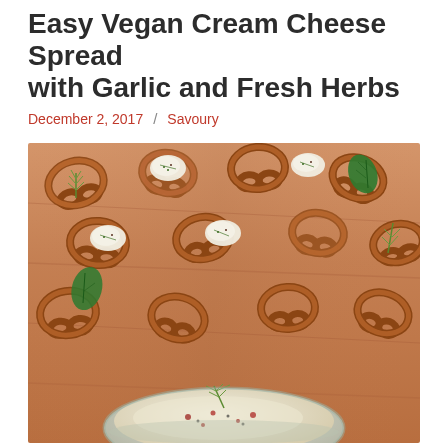Easy Vegan Cream Cheese Spread with Garlic and Fresh Herbs
December 2, 2017 / Savoury
[Figure (photo): Overhead photo of mini pretzels topped with vegan cream cheese spread and fresh herbs (dill and basil leaves) arranged on a wooden board, with a bowl of cream cheese spread garnished with dill visible at the bottom.]